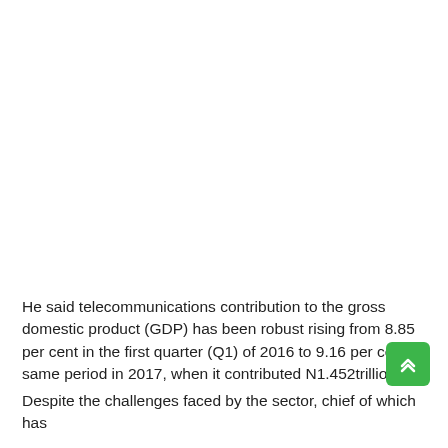He said telecommunications contribution to the gross domestic product (GDP) has been robust rising from 8.85 per cent in the first quarter (Q1) of 2016 to 9.16 per cent same period in 2017, when it contributed N1.452trillion.
Despite the challenges faced by the sector, chief of which has